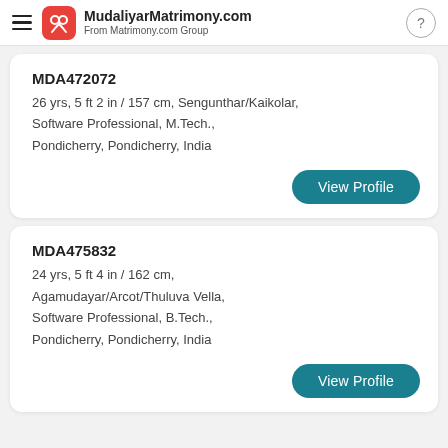MudaliyarMatrimony.com From Matrimony.com Group
MDA472072
26 yrs, 5 ft 2 in / 157 cm, Sengunthar/Kaikolar, Software Professional, M.Tech., Pondicherry, Pondicherry, India
View Profile
MDA475832
24 yrs, 5 ft 4 in / 162 cm, Agamudayar/Arcot/Thuluva Vella, Software Professional, B.Tech., Pondicherry, Pondicherry, India
View Profile